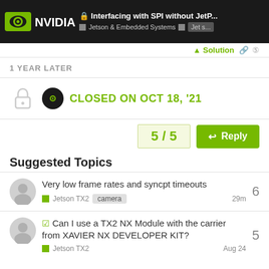Interfacing with SPI without JetP... | Jetson & Embedded Systems | Jet s...
Solution
1 YEAR LATER
CLOSED ON OCT 18, '21
5 / 5
Reply
Suggested Topics
Very low frame rates and syncpt timeouts
Jetson TX2  camera  29m  6
Can I use a TX2 NX Module with the carrier from XAVIER NX DEVELOPER KIT?
Jetson TX2  Aug 24  5